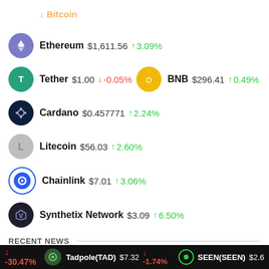Bitcoin (partial, cut off at top)
Ethereum $1,611.56 ↑ 3.09%
Tether $1.00 ↓ -0.05% | BNB $296.41 ↑ 0.49%
Cardano $0.457771 ↑ 2.24%
Litecoin $56.03 ↑ 2.60%
Chainlink $7.01 ↑ 3.06%
Synthetix Network $3.09 ↑ 6.50%
RECENT NEWS
Online Dating Tips That Never Ever Get Wrong
Coinbase's ENS integration goes live
↓ -30.47%  Tadpole(TAD) $7.32 ↓ -1.74%  SEEN(SEEN) $2.6...